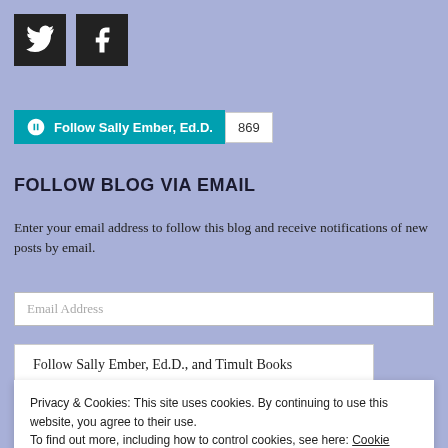[Figure (logo): Twitter bird icon (white on black square)]
[Figure (logo): Facebook 'f' icon (white on black square)]
[Figure (other): WordPress Follow button: 'Follow Sally Ember, Ed.D.' in teal with WordPress logo, count badge showing 869]
FOLLOW BLOG VIA EMAIL
Enter your email address to follow this blog and receive notifications of new posts by email.
Email Address
Follow Sally Ember, Ed.D., and Timult Books
Privacy & Cookies: This site uses cookies. By continuing to use this website, you agree to their use.
To find out more, including how to control cookies, see here: Cookie Policy
Close and accept